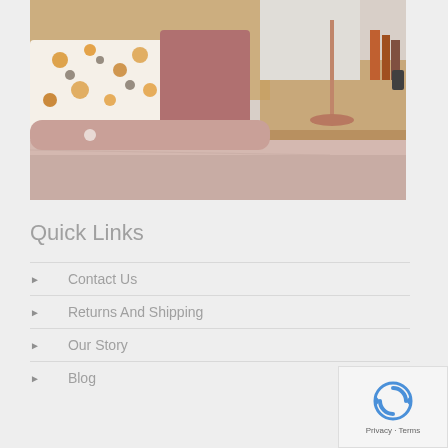[Figure (photo): Bedroom scene with pink/mauve linen bedding, floral patterned pillow, pink cushion, wooden headboard, nightstand with a lamp and books in the background.]
Quick Links
Contact Us
Returns And Shipping
Our Story
Blog